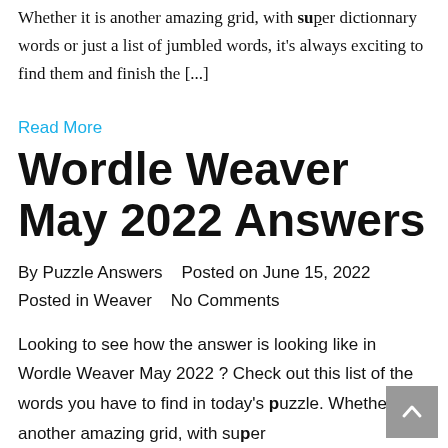Whether it is another amazing grid, with super dictionnary words or just a list of jumbled words, it's always exciting to find them and finish the [...]
Read More
Wordle Weaver May 2022 Answers
By Puzzle Answers   Posted on June 15, 2022
Posted in Weaver    No Comments
Looking to see how the answer is looking like in Wordle Weaver May 2022 ? Check out this list of the words you have to find in today's puzzle. Whether it is another amazing grid, with super